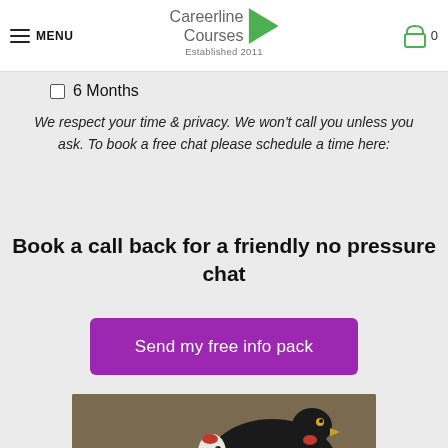MENU | Careerline Courses | Established 2011 | 0
6 Months
We respect your time & privacy. We won't call you unless you ask. To book a free chat please schedule a time here:
Book a call back for a friendly no pressure chat
Send my free info pack
[Figure (photo): Two chickens, one black and one white, outdoors on the ground with leaves and foliage visible]